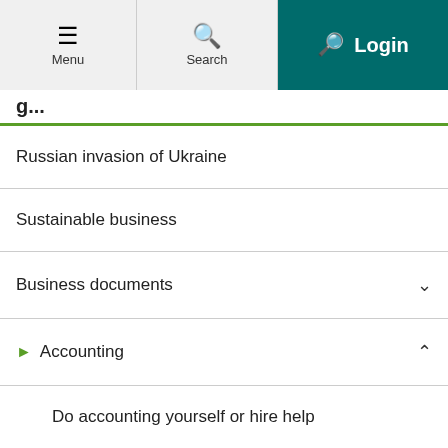Menu | Search | Login
Russian invasion of Ukraine
Sustainable business
Business documents
Accounting
Do accounting yourself or hire help
Verifications
Running accounts